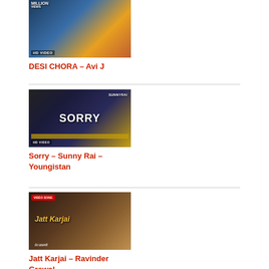[Figure (photo): Thumbnail image for DESI CHORA music video showing HD Video banner with colorful background]
DESI CHORA – Avi J
[Figure (photo): Thumbnail image for Sorry music video by Sunny Rai – Youngistan, dark background with artist photo and SORRY text]
Sorry – Sunny Rai – Youngistan
[Figure (photo): Thumbnail image for Jatt Karjai music video by Ravinder Grewal, dark warm tones with ornate golden script title]
Jatt Karjai – Ravinder Grewal